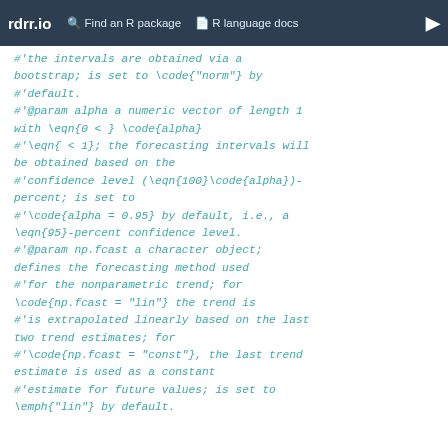rdrr.io   Find an R package   R language docs
#'the intervals are obtained via a bootstrap; is set to \code{"norm"} by #'default.
#'@param alpha a numeric vector of length 1 with \eqn{0 < } \code{alpha}
#'\eqn{ < 1}; the forecasting intervals will be obtained based on the
#'confidence level (\eqn{100}\code{alpha})-percent; is set to
#'\code{alpha = 0.95} by default, i.e., a \eqn{95}-percent confidence level.
#'@param np.fcast a character object; defines the forecasting method used
#'for the nonparametric trend; for \code{np.fcast = "lin"} the trend is
#'is extrapolated linearly based on the last two trend estimates; for
#'\code{np.fcast = "const"}, the last trend estimate is used as a constant
#'estimate for future values; is set to \emph{"lin"} by default.